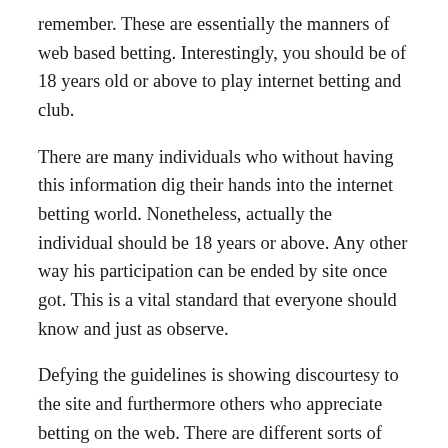remember. These are essentially the manners of web based betting. Interestingly, you should be of 18 years old or above to play internet betting and club.
There are many individuals who without having this information dig their hands into the internet betting world. Nonetheless, actually the individual should be 18 years or above. Any other way his participation can be ended by site once got. This is a vital standard that everyone should know and just as observe.
Defying the guidelines is showing discourtesy to the site and furthermore others who appreciate betting on the web. There are different sorts of fun exercises that the youngsters can humor them into rather than going for internet betting games. Countless games can be played online through the different web based betting gaming locales.